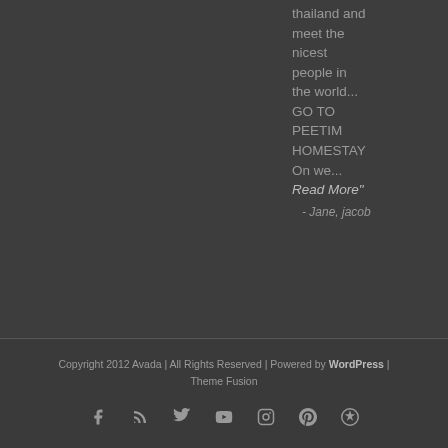thailand and meet the nicest people in the world... GO TO PEETIM HOMESTAY On we... Read More" - Jane, jacob
Copyright 2012 Avada | All Rights Reserved | Powered by WordPress | Theme Fusion